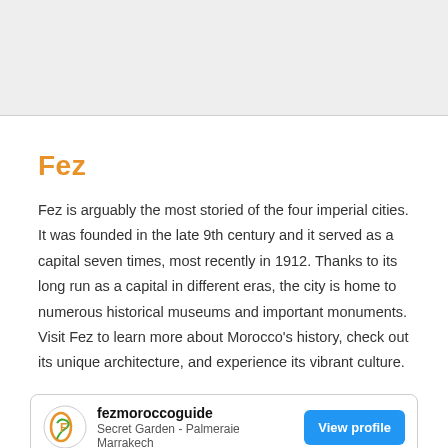[Figure (photo): Gray background area at the top of the page, representing the upper portion of a content block or image placeholder.]
Fez
Fez is arguably the most storied of the four imperial cities. It was founded in the late 9th century and it served as a capital seven times, most recently in 1912. Thanks to its long run as a capital in different eras, the city is home to numerous historical museums and important monuments. Visit Fez to learn more about Morocco's history, check out its unique architecture, and experience its vibrant culture.
[Figure (logo): fezmoroccoguide logo — a stylized F in a circle with orange and green colors. Below the logo: profile name 'fezmoroccoguide', subtitle 'Secret Garden - Palmeraie Marrakech', and a blue 'View profile' button.]
[Figure (photo): Blue strip at the bottom of the page, partial image visible.]